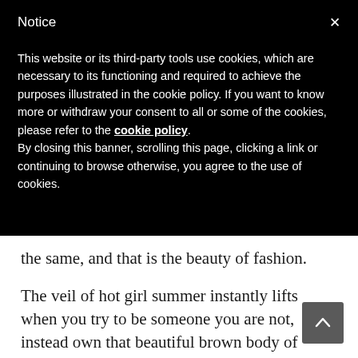Notice
This website or its third-party tools use cookies, which are necessary to its functioning and required to achieve the purposes illustrated in the cookie policy. If you want to know more or withdraw your consent to all or some of the cookies, please refer to the cookie policy.
By closing this banner, scrolling this page, clicking a link or continuing to browse otherwise, you agree to the use of cookies.
the same, and that is the beauty of fashion.
The veil of hot girl summer instantly lifts when you try to be someone you are not, instead own that beautiful brown body of yours by wearing what you want and feel comfortable in!
Priyanka Chopra said it best, “I never thought I am stylish. For me, style is always a representation of what